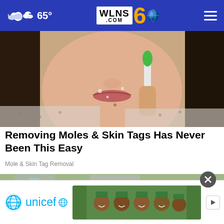65° WLNS 6 .COM
[Figure (photo): Close-up of a woman holding a toothbrush or small device near her face/chin, examining her skin]
Removing Moles & Skin Tags Has Never Been This Easy
Mole & Skin Tag Removal
[Figure (photo): Aerial view of a damaged or storm-affected roof with displaced shingles]
[Figure (photo): UNICEF advertisement showing smiling children wearing green hats]